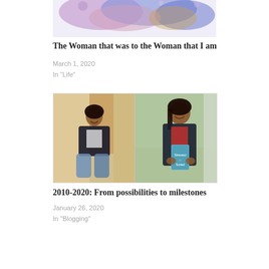[Figure (photo): Abstract colorful watercolor painting with blue, purple, and pink tones at the top of the page]
The Woman that was to the Woman that I am
March 1, 2020
In "Life"
[Figure (photo): Two side-by-side photos: left shows a young woman sitting on the floor wearing a dark jacket and jeans; right shows a woman smiling and holding a book titled 'Stressed to Sorted']
2010-2020: From possibilities to milestones
January 26, 2020
In "Blogging"